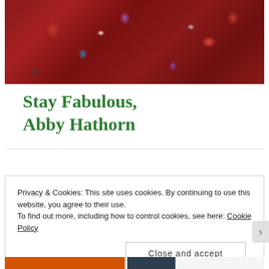[Figure (photo): Close-up photo of a person wearing a dark red/maroon floral dress with purple, blue, red, and white flower and leaf patterns, green foliage blurred in background]
Stay Fabulous, Abby Hathorn
Privacy & Cookies: This site uses cookies. By continuing to use this website, you agree to their use.
To find out more, including how to control cookies, see here: Cookie Policy
Close and accept